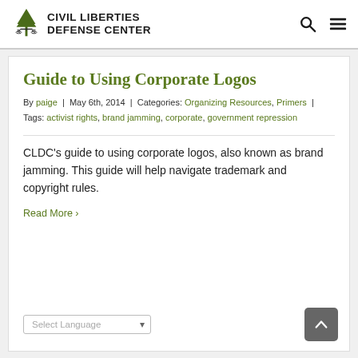[Figure (logo): Civil Liberties Defense Center logo with tree and scales icon and bold text]
Guide to Using Corporate Logos
By paige | May 6th, 2014 | Categories: Organizing Resources, Primers | Tags: activist rights, brand jamming, corporate, government repression
CLDC's guide to using corporate logos, also known as brand jamming. This guide will help navigate trademark and copyright rules.
Read More >